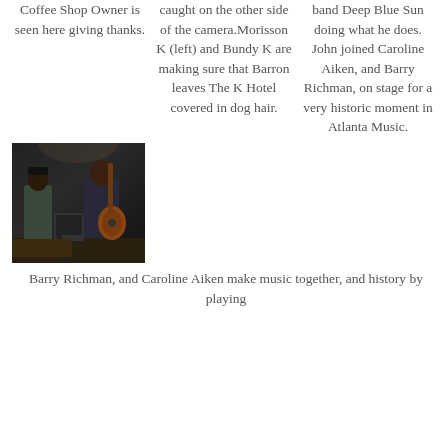Coffee Shop Owner is seen here giving thanks.
caught on the other side of the camera. Morisson K (left) and Bundy K are making sure that Barron leaves The K Hotel covered in dog hair.
band Deep Blue Sun doing what he does. John joined Caroline Aiken, and Barry Richman, on stage for a very historic moment in Atlanta Music.
[Figure (photo): Two musicians on a dark stage, one playing guitar, performing together at a concert venue.]
Barry Richman, and Caroline Aiken make music together, and history by playing